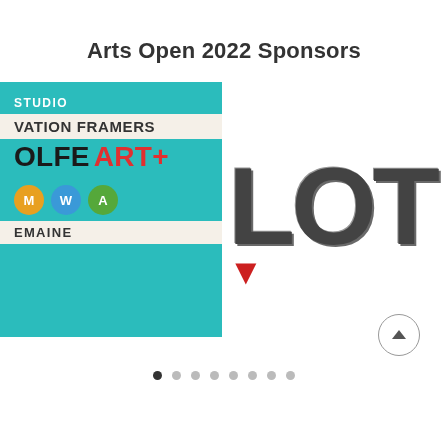Arts Open 2022 Sponsors
[Figure (logo): Studio Ovation Framers / Wolfe ART+ MWA Maine sponsor logo on teal background]
[Figure (logo): Partial logo showing 'LOT' in large distressed dark lettering with red accent, cropped on right side]